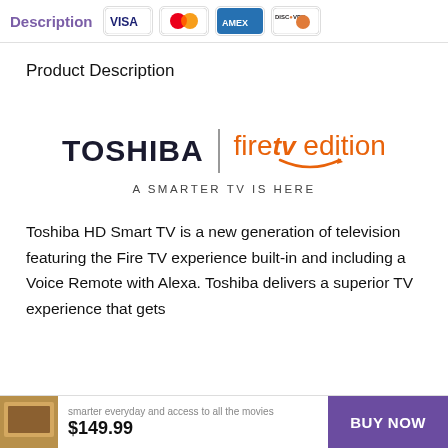Description | VISA | Mastercard | AMEX | DISCOVER
Product Description
[Figure (logo): TOSHIBA | fire tv edition logo with Amazon smile arc and tagline A SMARTER TV IS HERE]
Toshiba HD Smart TV is a new generation of television featuring the Fire TV experience built-in and including a Voice Remote with Alexa. Toshiba delivers a superior TV experience that gets smarter everyday and access to all the movies
smarter everyday and access to all the movies $149.99 BUY NOW